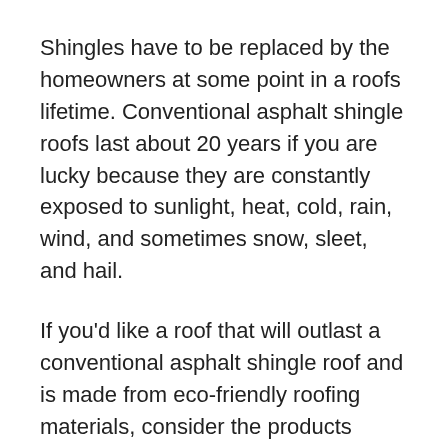Shingles have to be replaced by the homeowners at some point in a roofs lifetime. Conventional asphalt shingle roofs last about 20 years if you are lucky because they are constantly exposed to sunlight, heat, cold, rain, wind, and sometimes snow, sleet, and hail.
If you'd like a roof that will outlast a conventional asphalt shingle roof and is made from eco-friendly roofing materials, consider the products outlined here. Many of them are virtually immune to hail. Green roofing products are many and varied, ranging from recycled-plastic shingles to recycled-metal